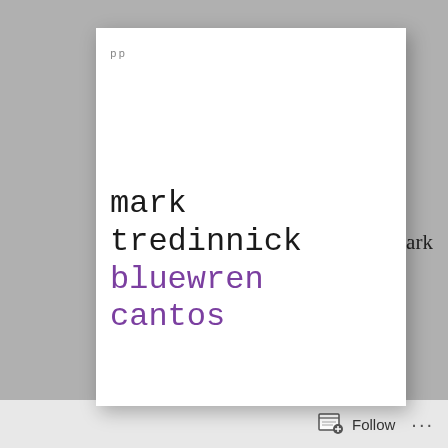[Figure (photo): Book cover image for 'Bluewren Cantos' by Mark Tredinnick. White cover with a small 'pp' logo at top left, author name 'mark tredinnick' in black monospace, and title 'bluewren cantos' in purple monospace text.]
When Mark
asked me to launch this new book, Bluewren Cantos, I took a very deep breath before I said ‘yes’. I had already been reading the book, so I knew it was an exceptional collection of poetry. I believe it is a book that will be written about with great excitement by critics and readers for a very long time, so whatever I say today to launch it